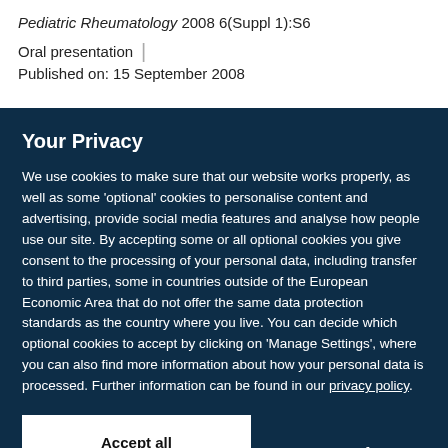Pediatric Rheumatology 2008 6(Suppl 1):S6
Oral presentation | Published on: 15 September 2008
Your Privacy
We use cookies to make sure that our website works properly, as well as some 'optional' cookies to personalise content and advertising, provide social media features and analyse how people use our site. By accepting some or all optional cookies you give consent to the processing of your personal data, including transfer to third parties, some in countries outside of the European Economic Area that do not offer the same data protection standards as the country where you live. You can decide which optional cookies to accept by clicking on 'Manage Settings', where you can also find more information about how your personal data is processed. Further information can be found in our privacy policy.
Accept all cookies
Manage preferences